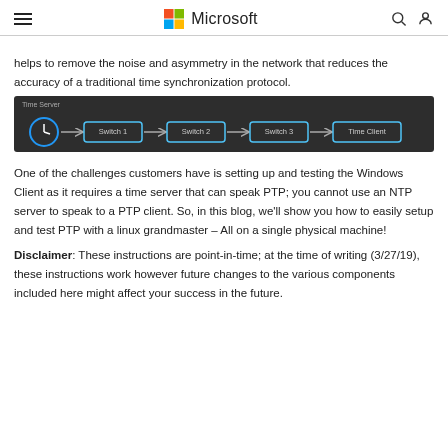Microsoft
helps to remove the noise and asymmetry in the network that reduces the accuracy of a traditional time synchronization protocol.
[Figure (flowchart): Network time synchronization diagram showing Time Server (clock icon) connected via arrows through Switch 1, Switch 2, Switch 3, to Time Client, all on a dark background.]
One of the challenges customers have is setting up and testing the Windows Client as it requires a time server that can speak PTP; you cannot use an NTP server to speak to a PTP client. So, in this blog, we'll show you how to easily setup and test PTP with a linux grandmaster – All on a single physical machine!
Disclaimer: These instructions are point-in-time; at the time of writing (3/27/19), these instructions work however future changes to the various components included here might affect your success in the future.